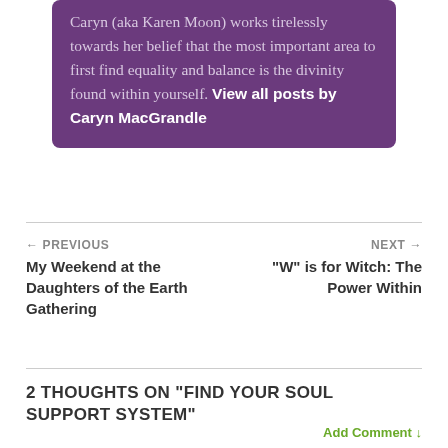Caryn (aka Karen Moon) works tirelessly towards her belief that the most important area to first find equality and balance is the divinity found within yourself. View all posts by Caryn MacGrandle
← PREVIOUS
My Weekend at the Daughters of the Earth Gathering
NEXT →
"W" is for Witch: The Power Within
2 THOUGHTS ON "FIND YOUR SOUL SUPPORT SYSTEM"
Add Comment ↓